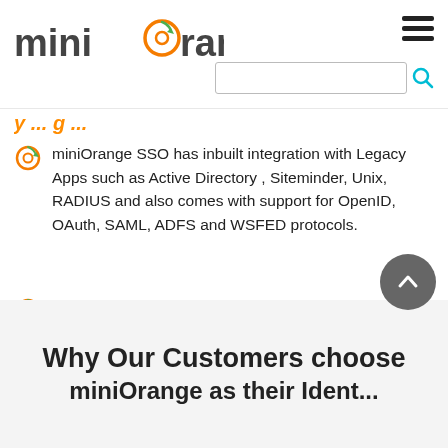miniOrange
miniOrange SSO has inbuilt integration with Legacy Apps such as Active Directory , Siteminder, Unix, RADIUS and also comes with support for OpenID, OAuth, SAML, ADFS and WSFED protocols.
Support for remote Logins such as Radius VPN, Website Protection, ADFS, Windows, Citrix
miniOrange's Single Sign-On product is not limited to corporate apps only, you can add your own personal apps.
Why Our Customers choose miniOrange as their Identity...